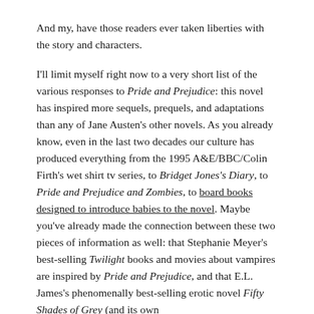And my, have those readers ever taken liberties with the story and characters.
I'll limit myself right now to a very short list of the various responses to Pride and Prejudice: this novel has inspired more sequels, prequels, and adaptations than any of Jane Austen's other novels. As you already know, even in the last two decades our culture has produced everything from the 1995 A&E/BBC/Colin Firth's wet shirt tv series, to Bridget Jones's Diary, to Pride and Prejudice and Zombies, to board books designed to introduce babies to the novel. Maybe you've already made the connection between these two pieces of information as well: that Stephanie Meyer's best-selling Twilight books and movies about vampires are inspired by Pride and Prejudice, and that E.L. James's phenomenally best-selling erotic novel Fifty Shades of Grey (and its own sequels) is also a Twilight fan fiction.